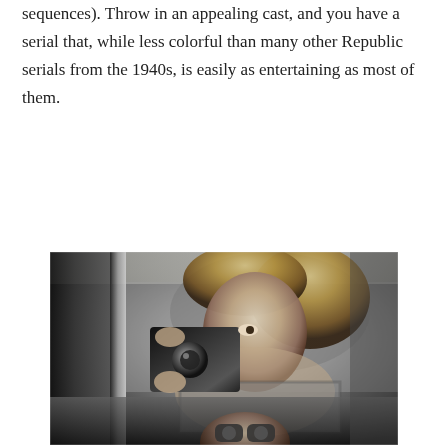sequences). Throw in an appealing cast, and you have a serial that, while less colorful than many other Republic serials from the 1940s, is easily as entertaining as most of them.
[Figure (photo): Black and white photograph of a woman sitting in a car, holding a camera or binoculars up to look through. She has blonde wavy hair and is wearing a checkered top. A second figure is partially visible at the bottom of the frame also holding binoculars.]